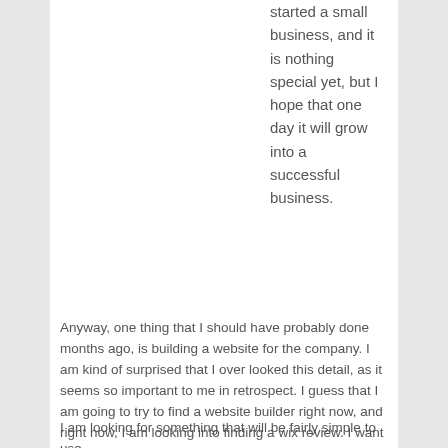started a small business, and it is nothing special yet, but I hope that one day it will grow into a successful business.
Anyway, one thing that I should have probably done months ago, is building a website for the company. I am kind of surprised that I over looked this detail, as it seems so important to me in retrospect. I guess that I am going to try to find a website builder right now, and right now, I am looking into finding a wix review. I want to determine if Wix is the right platform for me to design my website.
I am looking for something that will be fairly simple to use,